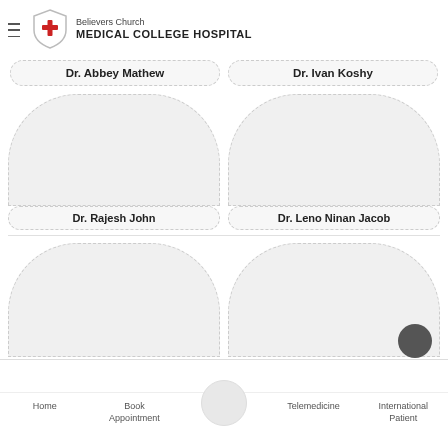[Figure (logo): Believers Church Medical College Hospital logo with red cross shield and hospital name]
Dr. Abbey Mathew
Dr. Ivan Koshy
[Figure (illustration): Circular avatar placeholder for Dr. Rajesh John]
[Figure (illustration): Circular avatar placeholder for Dr. Leno Ninan Jacob]
Dr. Rajesh John
Dr. Leno Ninan Jacob
[Figure (illustration): Circular avatar placeholder (bottom left)]
[Figure (illustration): Circular avatar placeholder (bottom right)]
Home | Book Appointment | Telemedicine | International Patient